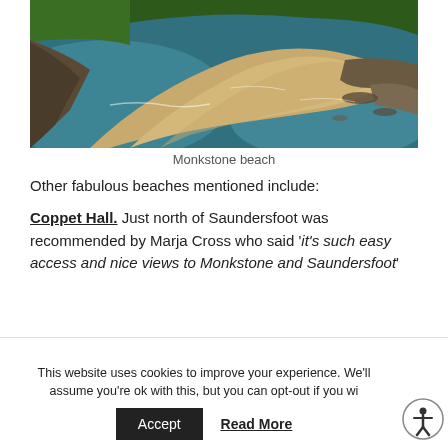[Figure (photo): Aerial view of Monkstone beach showing a sandy spit surrounded by teal-green sea water with rocky coastline and green vegetation on the cliff top]
Monkstone beach
Other fabulous beaches mentioned include:
Coppet Hall. Just north of Saundersfoot was recommended by Marja Cross who said ‘it’s such easy access and nice views to Monkstone and Saundersfoot’
Newport Parrog. Along the path towards the old
This website uses cookies to improve your experience. We'll assume you're ok with this, but you can opt-out if you wi